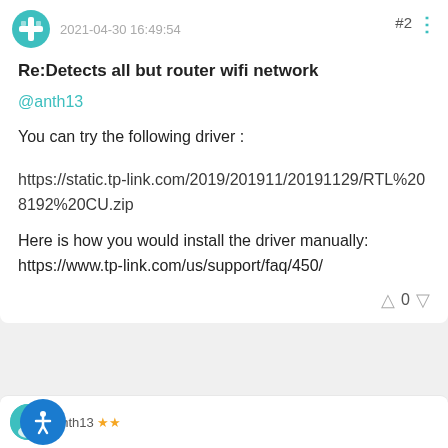2021-04-30 16:49:54  #2
Re:Detects all but router wifi network
@anth13
You can try the following driver :
https://static.tp-link.com/2019/201911/20191129/RTL%208192%20CU.zip
Here is how you would install the driver manually: https://www.tp-link.com/us/support/faq/450/